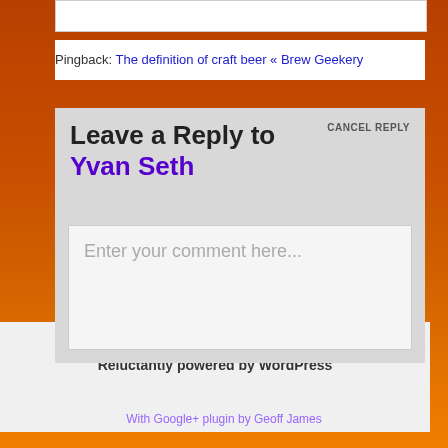Pingback: The definition of craft beer « Brew Geekery
Leave a Reply to Yvan Seth CANCEL REPLY
Enter your comment here...
Reluctantly powered by WordPress
With Google+ plugin by Geoff James